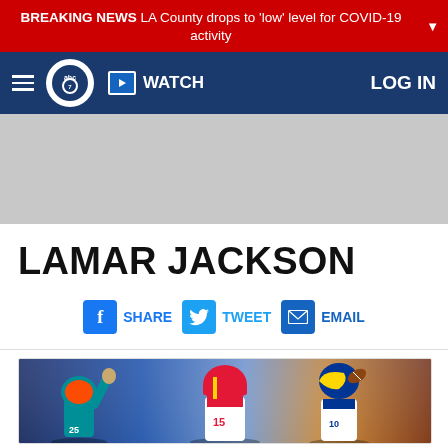BREAKING NEWS LA County drops to 'low' level for COVID-19 activity
[Figure (screenshot): ABC7 news website navigation bar with hamburger menu, abc7 logo, WATCH button, and LOG IN link on dark blue background]
[Figure (other): Gray advertisement placeholder area]
LAMAR JACKSON
SHARE   TWEET   EMAIL
[Figure (photo): NFL players composite image featuring Miami Dolphins player #25, Kansas City Chiefs player #15 in red helmet, and LA Rams player making a catch, with a Cleveland Browns player in lower right]